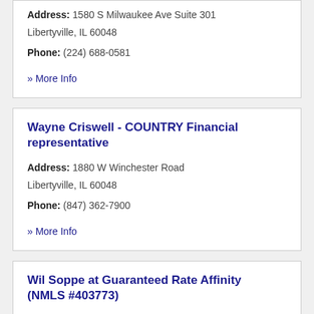Address: 1580 S Milwaukee Ave Suite 301 Libertyville, IL 60048
Phone: (224) 688-0581
» More Info
Wayne Criswell - COUNTRY Financial representative
Address: 1880 W Winchester Road Libertyville, IL 60048
Phone: (847) 362-7900
» More Info
Wil Soppe at Guaranteed Rate Affinity (NMLS #403773)